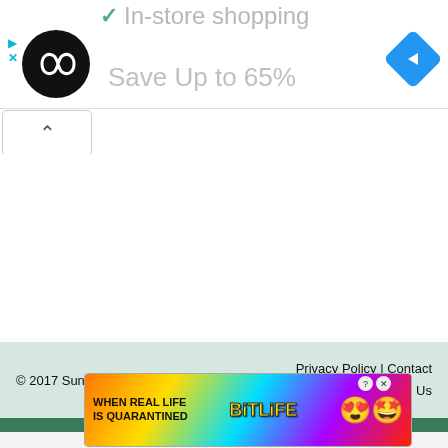[Figure (logo): Black circular logo with infinity/loop symbol in white]
[Figure (logo): Blue diamond navigation arrow icon]
In-store shopping
Save Up to 65%
[Figure (screenshot): Collapse/up-arrow button]
© 2017 SunSigns.Org    Privacy Policy | Contact Us
[Figure (illustration): BitLife advertisement banner: WHEN REAL LIFE IS QUARANTINED with BitLife logo and emoji characters]